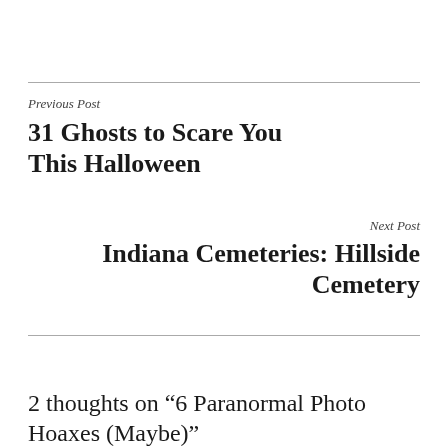Previous Post
31 Ghosts to Scare You This Halloween
Next Post
Indiana Cemeteries: Hillside Cemetery
2 thoughts on “6 Paranormal Photo Hoaxes (Maybe)”